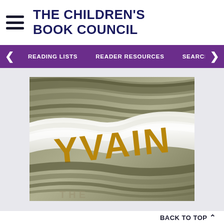THE CHILDREN'S BOOK COUNCIL
READING LISTS  READER RESOURCES  SEARCH BOO
[Figure (photo): Book cover of 'YVAIN' showing the title text in gold letters on a swirling cloth/fabric texture in olive, grey, and white tones]
BACK TO TOP